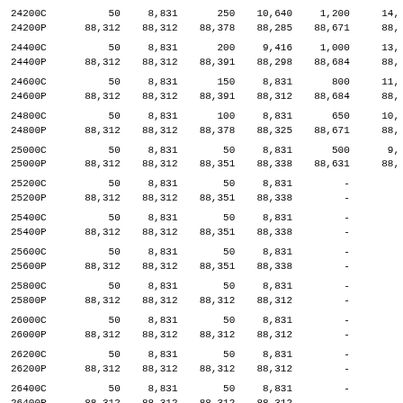| 24200C | 50 | 8,831 | 250 | 10,640 | 1,200 | 14, |
| 24200P | 88,312 | 88,312 | 88,378 | 88,285 | 88,671 | 88, |
| 24400C | 50 | 8,831 | 200 | 9,416 | 1,000 | 13, |
| 24400P | 88,312 | 88,312 | 88,391 | 88,298 | 88,684 | 88, |
| 24600C | 50 | 8,831 | 150 | 8,831 | 800 | 11, |
| 24600P | 88,312 | 88,312 | 88,391 | 88,312 | 88,684 | 88, |
| 24800C | 50 | 8,831 | 100 | 8,831 | 650 | 10, |
| 24800P | 88,312 | 88,312 | 88,378 | 88,325 | 88,671 | 88, |
| 25000C | 50 | 8,831 | 50 | 8,831 | 500 | 9, |
| 25000P | 88,312 | 88,312 | 88,351 | 88,338 | 88,631 | 88, |
| 25200C | 50 | 8,831 | 50 | 8,831 | - |  |
| 25200P | 88,312 | 88,312 | 88,351 | 88,338 | - |  |
| 25400C | 50 | 8,831 | 50 | 8,831 | - |  |
| 25400P | 88,312 | 88,312 | 88,351 | 88,338 | - |  |
| 25600C | 50 | 8,831 | 50 | 8,831 | - |  |
| 25600P | 88,312 | 88,312 | 88,351 | 88,338 | - |  |
| 25800C | 50 | 8,831 | 50 | 8,831 | - |  |
| 25800P | 88,312 | 88,312 | 88,312 | 88,312 | - |  |
| 26000C | 50 | 8,831 | 50 | 8,831 | - |  |
| 26000P | 88,312 | 88,312 | 88,312 | 88,312 | - |  |
| 26200C | 50 | 8,831 | 50 | 8,831 | - |  |
| 26200P | 88,312 | 88,312 | 88,312 | 88,312 | - |  |
| 26400C | 50 | 8,831 | 50 | 8,831 | - |  |
| 26400P | 88,312 | 88,312 | 88,312 | 88,312 | - |  |
| 26600C | 50 | 8,831 | 50 | 8,831 | - |  |
| 26600P | 88,312 | 88,312 | 88,312 | 88,312 | - |  |
| 26800C | 50 | 8,831 | 50 | 8,831 | - |  |